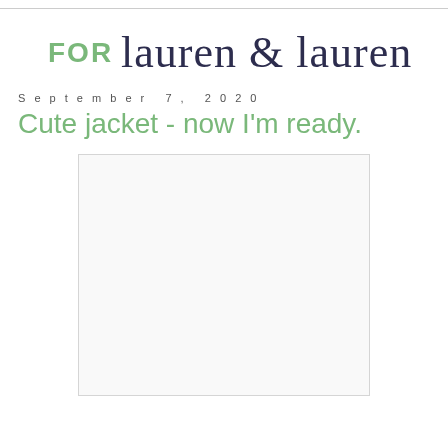FOR lauren & lauren
September 7, 2020
Cute jacket - now I'm ready.
[Figure (photo): A blank/white image placeholder with a light grey border, representing a photo embedded in a blog post.]